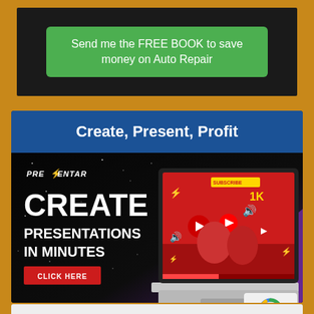[Figure (screenshot): Green button on dark background: 'Send me the FREE BOOK to save money on Auto Repair']
Create, Present, Profit
[Figure (advertisement): Prezentar ad: laptop with screen showing two girls, YouTube icons. Text: CREATE PRESENTATIONS IN MINUTES. CLICK HERE button. reCAPTCHA badge bottom right.]